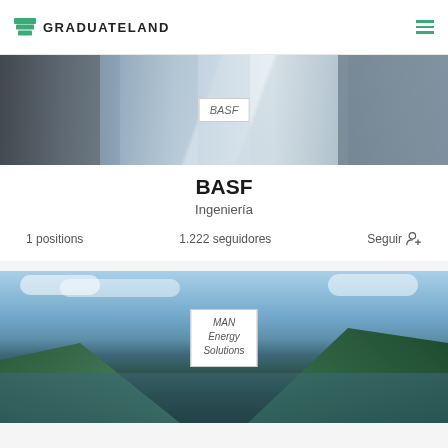GRADUATELAND
[Figure (screenshot): BASF company card with background photo of people in a meeting, BASF logo overlay, company name BASF, category Ingeniería, 1 positions, 1.222 seguidores, Seguir button]
BASF
Ingeniería
1 positions   1.222 seguidores   Seguir
[Figure (photo): MAN Energy Solutions company card with fjord landscape background photo and MAN Energy Solutions logo overlay]